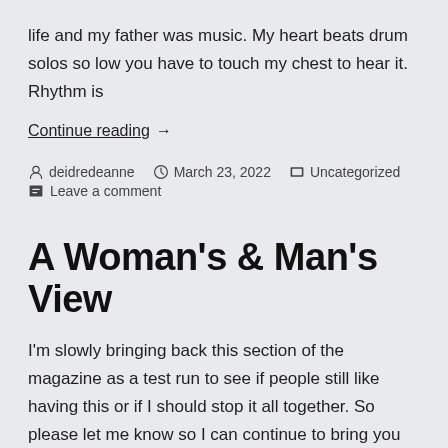life and my father was music. My heart beats drum solos so low you have to touch my chest to hear it. Rhythm is
Continue reading →
deidredeanne   March 23, 2022   Uncategorized   Leave a comment
A Woman's & Man's View
I'm slowly bringing back this section of the magazine as a test run to see if people still like having this or if I should stop it all together. So please let me know so I can continue to bring you what you like. First